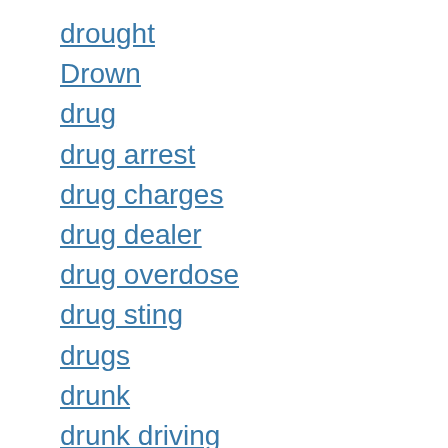drought
Drown
drug
drug arrest
drug charges
drug dealer
drug overdose
drug sting
drugs
drunk
drunk driving
dryer
Duck Donuts
Duke
Duke basketball